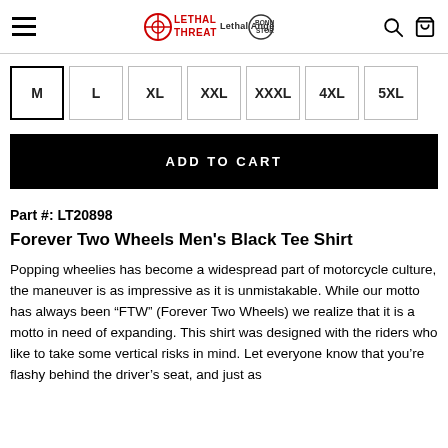Lethal Threat / Lethal Angel / Bonus Store navigation header with search and cart icons
Size options: M (selected), L, XL, XXL, XXXL, 4XL, 5XL
ADD TO CART
Part #: LT20898
Forever Two Wheels Men's Black Tee Shirt
Popping wheelies has become a widespread part of motorcycle culture, the maneuver is as impressive as it is unmistakable. While our motto has always been “FTW” (Forever Two Wheels) we realize that it is a motto in need of expanding. This shirt was designed with the riders who like to take some vertical risks in mind. Let everyone know that you’re flashy behind the driver’s seat, and just as